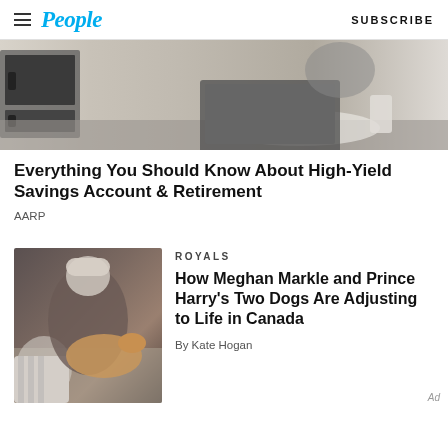People — SUBSCRIBE
[Figure (photo): Kitchen counter scene with laptop and appliances, advertisement image]
Everything You Should Know About High-Yield Savings Account & Retirement
AARP
ROYALS
[Figure (photo): Person reclining on couch with dog]
How Meghan Markle and Prince Harry's Two Dogs Are Adjusting to Life in Canada
By Kate Hogan